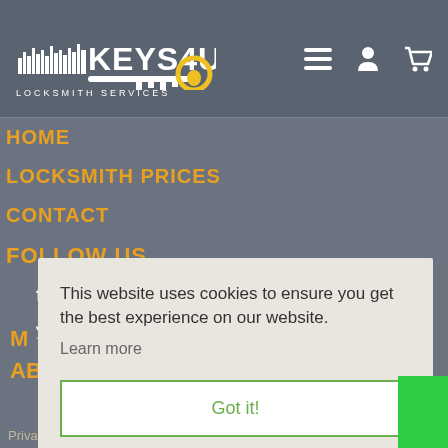[Figure (logo): Keys4U Locksmith Services logo with key icon and yellow/gold circle]
[Figure (infographic): Three white navigation icons: hamburger menu, user account, and shopping cart]
HOME
LOCKSMITH PRICES
CONTACT
FOLLOW US
Facebook
Twitter
This website uses cookies to ensure you get the best experience on our website.
Learn more
Got it!